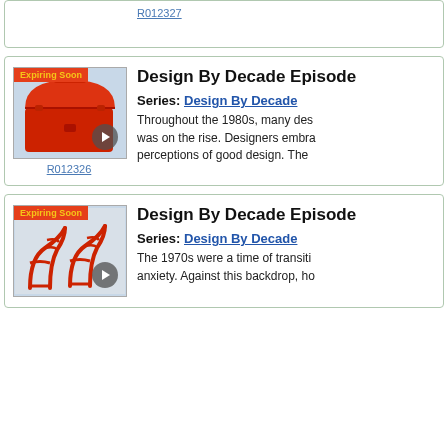R012327
[Figure (screenshot): Thumbnail of a red briefcase with Expiring Soon badge and play button, link R012326]
Design By Decade Episode
Series: Design By Decade
Throughout the 1980s, many des... was on the rise. Designers embra... perceptions of good design. The
R012326
[Figure (screenshot): Thumbnail of red wire chairs with Expiring Soon badge and play button]
Design By Decade Episode
Series: Design By Decade
The 1970s were a time of transiti... anxiety. Against this backdrop, ho